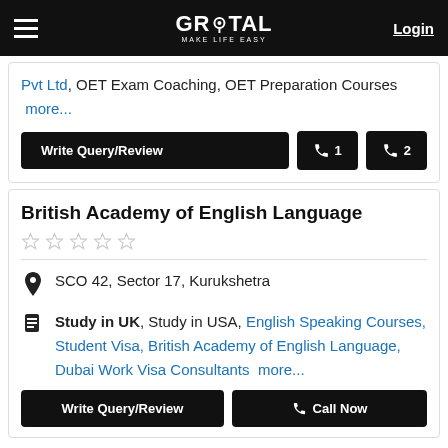GROTAL MAKE LIFE EASY | Login
Pvt Ltd, OET Exam Coaching, OET Preparation Courses more...
Write Query/Review | Call 1 | Call 2
British Academy of English Language
★★★★★ (no ratings)
SCO 42, Sector 17, Kurukshetra
Study in UK, Study in USA, English Speaking Courses, Student Visa, British Academy of English Language, Dubai Work Visa Consultants more...
Write Query/Review | Call Now